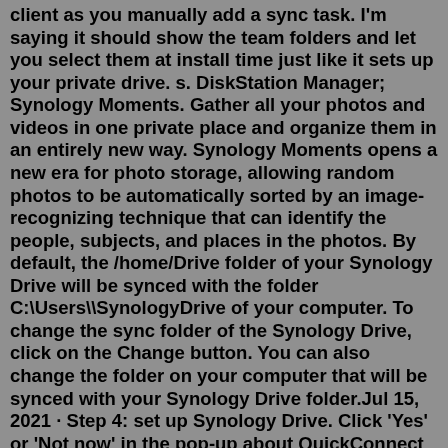client as you manually add a sync task. I'm saying it should show the team folders and let you select them at install time just like it sets up your private drive. s. DiskStation Manager; Synology Moments. Gather all your photos and videos in one private place and organize them in an entirely new way. Synology Moments opens a new era for photo storage, allowing random photos to be automatically sorted by an image-recognizing technique that can identify the people, subjects, and places in the photos. By default, the /home/Drive folder of your Synology Drive will be synced with the folder C:\Users\SynologyDrive of your computer. To change the sync folder of the Synology Drive, click on the Change button. You can also change the folder on your computer that will be synced with your Synology Drive folder.Jul 15, 2021 · Step 4: set up Synology Drive. Click 'Yes' or 'Not now' in the pop-up about QuickConnect and 'ignore and continue' in the pop-up about SSL. Now in the 'Almost done!'-screen, click on the pencil icon next to the 'Drive Server'. Choose the Synology folder that